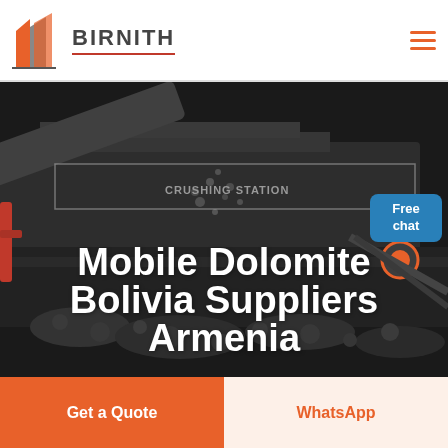[Figure (logo): Birnith brand logo with stylized orange and grey building/construction icon and text BIRNITH with red underline]
[Figure (photo): Dark industrial background photo showing a crushing station machine processing rocks/dolomite, with a female customer service avatar in top right corner]
Mobile Dolomite Bolivia Suppliers Armenia
Free chat
Get a Quote
WhatsApp